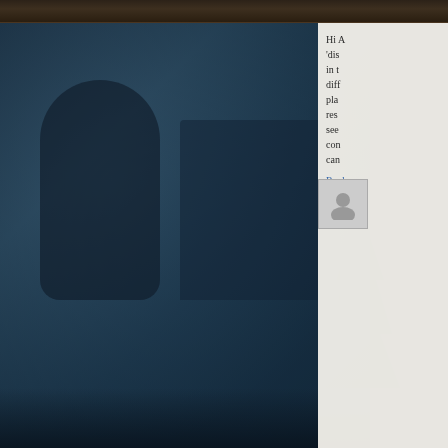[Figure (photo): Dark atmospheric/foggy scene with silhouettes of a person, building, and pine tree in muted blue-grey tones behind an ornate dark frame bar at the top]
Hi ... 'dis... in t... diff... pla... res... see ... con... can...
Repl...
-----
[Figure (photo): User avatar placeholder — grey silhouette icon on light grey background]